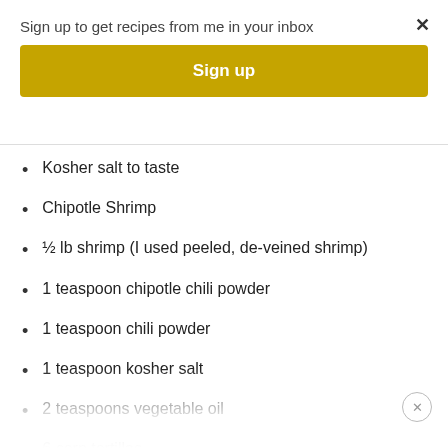Sign up to get recipes from me in your inbox
Sign up
Kosher salt to taste
Chipotle Shrimp
½ lb shrimp (I used peeled, de-veined shrimp)
1 teaspoon chipotle chili powder
1 teaspoon chili powder
1 teaspoon kosher salt
2 teaspoons vegetable oil
6 corn tortillas
finely shredded cabbage
avocado
lime
pico de gaillo